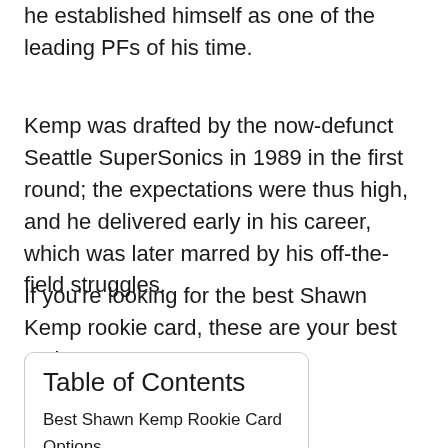he established himself as one of the leading PFs of his time.
Kemp was drafted by the now-defunct Seattle SuperSonics in 1989 in the first round; the expectations were thus high, and he delivered early in his career, which was later marred by his off-the-field struggles.
If you're looking for the best Shawn Kemp rookie card, these are your best options.
Table of Contents
Best Shawn Kemp Rookie Card Options
Shawn Kemp Rookie Card Buying Guide
About Shawn Kemp